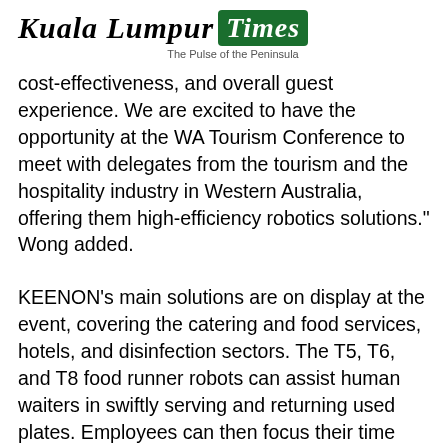Kuala Lumpur Times — The Pulse of the Peninsula
cost-effectiveness, and overall guest experience. We are excited to have the opportunity at the WA Tourism Conference to meet with delegates from the tourism and the hospitality industry in Western Australia, offering them high-efficiency robotics solutions." Wong added.
KEENON's main solutions are on display at the event, covering the catering and food services, hotels, and disinfection sectors. The T5, T6, and T8 food runner robots can assist human waiters in swiftly serving and returning used plates. Employees can then focus their time and energy on customer service, thereby reducing the risk of staff injury and significantly raising the restaurant's overall efficiency and service level.